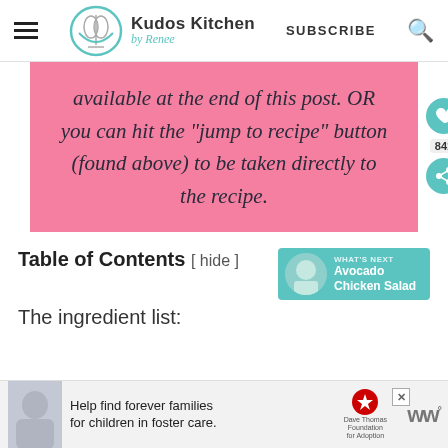Kudos Kitchen by Renee | SUBSCRIBE
available at the end of this post. OR you can hit the "jump to recipe" button (found above) to be taken directly to the recipe.
Table of Contents [ hide ]
The ingredient list:
[Figure (infographic): Advertisement banner: Help find forever families for children in foster care. Dave Thomas Foundation for Adoption. WW logo.]